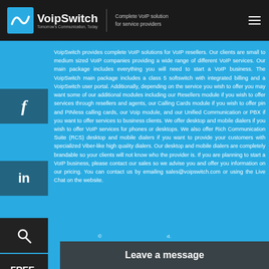VoipSwitch — Complete VoIP solution for service providers
VoipSwitch provides complete VoIP solutions for VoIP resellers. Our clients are small to medium sized VoIP companies providing a wide range of different VoIP services. Our main package includes everything you will need to start a VoIP business. The VoipSwitch main package includes a class 5 softswitch with integrated billing and a VoipSwitch user portal. Additionally, depending on the service you wish to offer you may want some of our additional modules including our Resellers module if you wish to offer services through resellers and agents, our Calling Cards module if you wish to offer pin and PINless calling cards, our Voip module, and our Unified Communication or PBX if you want to offer services to business clients. We offer desktop and mobile dialers if you wish to offer VoIP services for phones or desktops. We also offer Rich Communication Suite (RCS) desktop and mobile dialers if you want to provide your customers with specialized Viber-like high quality dialers. Our desktop and mobile dialers are completely brandable so your clients will not know who the provider is. If you are planning to start a VoIP business, please contact our sales so we advise you and offer you information on our pricing. You can contact us by emailing sales@voipswitch.com or using the Live Chat on the website.
© All rights reserved.
Leave a message